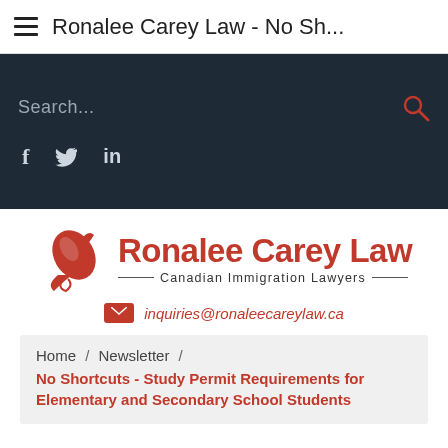≡  Ronalee Carey Law - No Sh...
[Figure (screenshot): Dark navigation bar with search field showing 'Search...' placeholder text, a red magnifying glass search icon on the right, and social media icons (f, bird/twitter, in) below on a dark navy background.]
[Figure (logo): Ronalee Carey Law logo with a red stylized rocket/bird icon on the left and bold red text 'Ronalee Carey Law' with 'Canadian Immigration Lawyers' subtitle with decorative lines.]
inquiries@ronaleecareylaw.ca
Home / Newsletter / No Shortcuts - Study Permit Requirements for Elementary and Secondary School Students